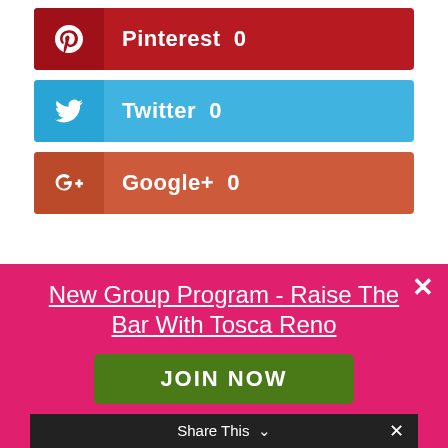[Figure (screenshot): Pinterest share button - red background with Pinterest icon and count 0]
[Figure (screenshot): Twitter share button - blue background with Twitter bird icon and count 0]
[Figure (screenshot): Google+ share button - orange-red background with G+ icon and count 0]
7 Comments
njerseyjazz@aol.om on July 18, 2017 at
[Figure (screenshot): Pink ad overlay banner with text 'New Group Program - Raise The Bar With Tosca Reno', a JOIN NOW green button, and a Share This bar at the bottom]